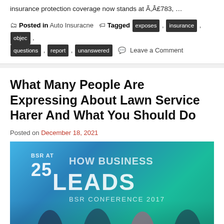insurance protection coverage now stands at Ã,Â£783, …
Posted in Auto Insuracne  Tagged exposes, insurance, objec, questions, report, unanswered  Leave a Comment
What Many People Are Expressing About Lawn Service Harer And What You Should Do
Posted on December 18, 2021
[Figure (photo): Conference stage with banner reading HOW BUSINESS LEADS, BSR CONFERENCE 2017, with four speakers on stage]